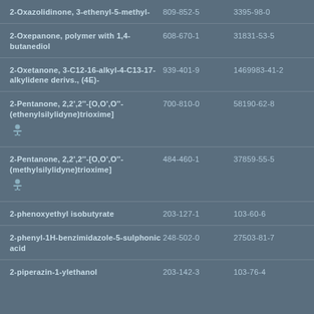| Name | EC Number | CAS Number |
| --- | --- | --- |
| 2-Oxazolidinone, 3-ethenyl-5-methyl- | 809-852-5 | 3395-98-0 |
| 2-Oxepanone, polymer with 1,4-butanediol | 608-670-1 | 31831-53-5 |
| 2-Oxetanone, 3-C12-16-alkyl-4-C13-17-alkylidene derivs., (4E)- | 939-401-9 | 1469983-41-2 |
| 2-Pentanone, 2,2',2''-[O,O',O''-(ethenylsilylidyne)trioxime] | 700-810-0 | 58190-62-8 |
| 2-Pentanone, 2,2',2''-[O,O',O''-(methylsilylidyne)trioxime] | 484-460-1 | 37859-55-5 |
| 2-phenoxyethyl isobutyrate | 203-127-1 | 103-60-6 |
| 2-phenyl-1H-benzimidazole-5-sulphonic acid | 248-502-0 | 27503-81-7 |
| 2-piperazin-1-ylethanol | 203-142-3 | 103-76-4 |